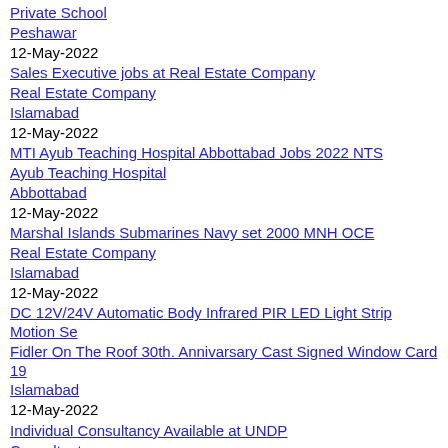Private School
Peshawar
12-May-2022
Sales Executive jobs at Real Estate Company
Real Estate Company
Islamabad
12-May-2022
MTI Ayub Teaching Hospital Abbottabad Jobs 2022 NTS
Ayub Teaching Hospital
Abbottabad
12-May-2022
Marshal Islands Submarines Navy set 2000 MNH OCE
Real Estate Company
Islamabad
12-May-2022
DC 12V/24V Automatic Body Infrared PIR LED Light Strip Motion Se
Fidler On The Roof 30th. Annivarsary Cast Signed Window Card 19
Islamabad
12-May-2022
Individual Consultancy Available at UNDP
Consultant
Lahore
12-May-2022
Consultancy Available at Lodhran Pilot Project